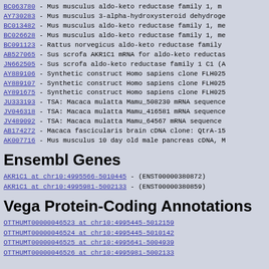BC063780 - Mus musculus aldo-keto reductase family 1, me
AY730283 - Mus musculus 3-alpha-hydroxysteroid dehydroge
BC013482 - Mus musculus aldo-keto reductase family 1, me
BC026628 - Mus musculus aldo-keto reductase family 1, me
BC091123 - Rattus norvegicus aldo-keto reductase family
AB527065 - Sus scrofa AKR1C1 mRNA for aldo-keto reductas
JN662505 - Sus scrofa aldo-keto reductase family 1 C1 (A
AY889106 - Synthetic construct Homo sapiens clone FLH025
AY889107 - Synthetic construct Homo sapiens clone FLH025
AY891675 - Synthetic construct Homo sapiens clone FLH025
JU333193 - TSA: Macaca mulatta Mamu_508230 mRNA sequence
JV046318 - TSA: Macaca mulatta Mamu_416581 mRNA sequence
JV489092 - TSA: Macaca mulatta Mamu_64567 mRNA sequence
AB174272 - Macaca fascicularis brain cDNA clone: QtrA-15
AK007716 - Mus musculus 10 day old male pancreas cDNA, M
Ensembl Genes
AKR1C1 at chr10:4995566-5010445 - (ENST00000380872)
AKR1C1 at chr10:4995981-5002133 - (ENST00000380859)
Vega Protein-Coding Annotations
OTTHUMT00000046523 at chr10:4995445-5012159
OTTHUMT00000046524 at chr10:4995445-5010142
OTTHUMT00000046525 at chr10:4995641-5004939
OTTHUMT00000046526 at chr10:4995981-5002133